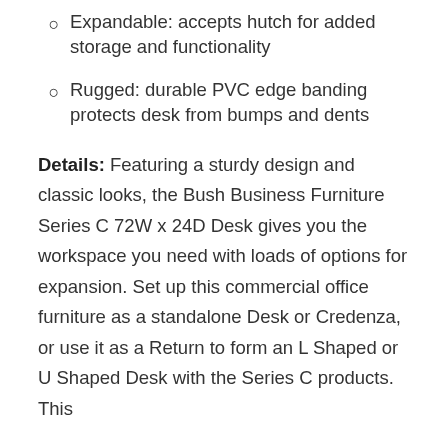Expandable: accepts hutch for added storage and functionality
Rugged: durable PVC edge banding protects desk from bumps and dents
Details: Featuring a sturdy design and classic looks, the Bush Business Furniture Series C 72W x 24D Desk gives you the workspace you need with loads of options for expansion. Set up this commercial office furniture as a standalone Desk or Credenza, or use it as a Return to form an L Shaped or U Shaped Desk with the Series C products. This